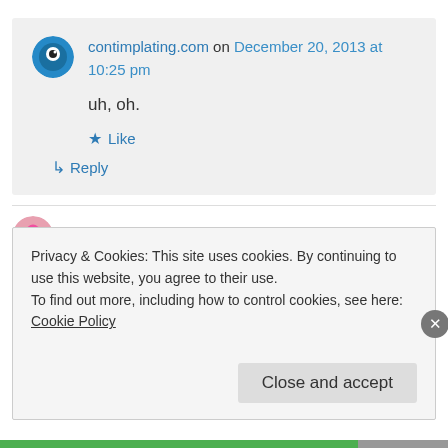contimplating.com on December 20, 2013 at 10:25 pm
uh, oh.
★ Like
↳ Reply
Lorraine on December 19, 2013 at 8:54 pm
Privacy & Cookies: This site uses cookies. By continuing to use this website, you agree to their use. To find out more, including how to control cookies, see here: Cookie Policy
Close and accept